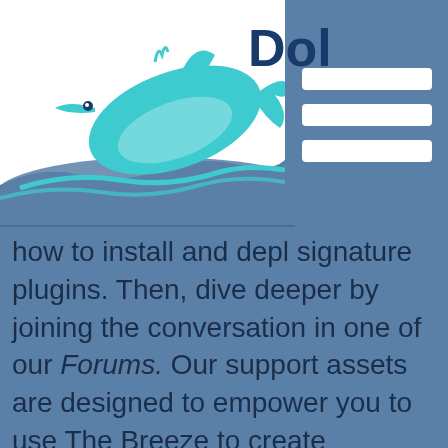[Figure (logo): Dolphin logo with teal dolphin leaping over water waves, white background, with partial text 'Dol' visible in dark blue]
how to install and depl signature plugins. Then, dive deeper by joining the conversation in one of our Forums. Our support assets are designed to empower you to use The Breeze to create exposure and serve your audience the way you want.

If you still have questions, we provide training and phone support. Check out our resources